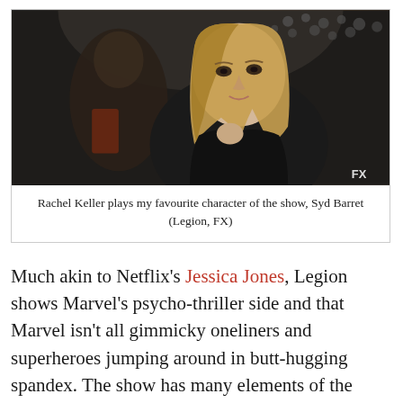[Figure (photo): Rachel Keller in a still from Legion (FX). A blonde woman in a black jacket looks toward camera with a person blurred in background. FX watermark in bottom right.]
Rachel Keller plays my favourite character of the show, Syd Barret (Legion, FX)
Much akin to Netflix's Jessica Jones, Legion shows Marvel's psycho-thriller side and that Marvel isn't all gimmicky oneliners and superheroes jumping around in butt-hugging spandex. The show has many elements of the psycho-thriller genre, with things that made